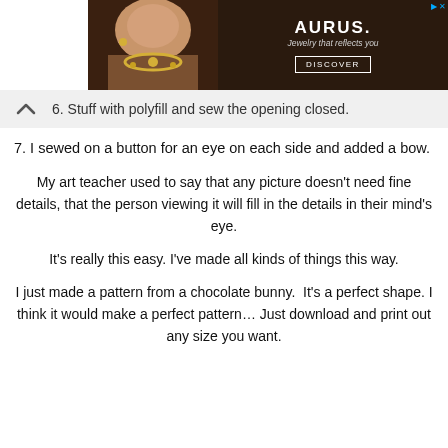[Figure (other): Advertisement banner for AURUS jewelry with a woman wearing a gold necklace, tagline 'Jewelry that reflects you' and a DISCOVER button]
6. Stuff with polyfill and sew the opening closed.
7. I sewed on a button for an eye on each side and added a bow.
My art teacher used to say that any picture doesn't need fine details, that the person viewing it will fill in the details in their mind's eye.
It's really this easy. I've made all kinds of things this way.
I just made a pattern from a chocolate bunny.  It's a perfect shape. I think it would make a perfect pattern… Just download and print out any size you want.